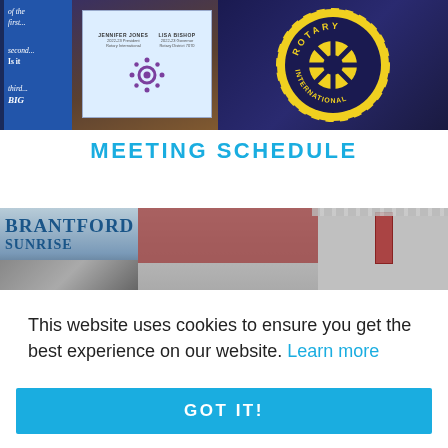[Figure (photo): Photo of a Rotary International meeting podium with a sign showing speaker names, and a large Rotary International emblem badge on the right side. A blue banner is visible on the left.]
MEETING SCHEDULE
[Figure (photo): Photo collage showing Brantford Sunrise Rotary Club text on the left and people gathered in what appears to be a gymnasium or community hall on the right.]
This website uses cookies to ensure you get the best experience on our website. Learn more
GOT IT!